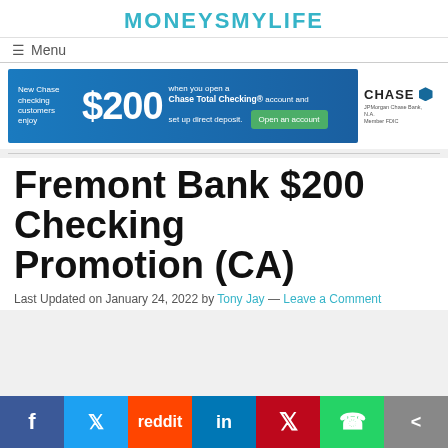MONEYSMYLIFE
≡  Menu
[Figure (infographic): Chase bank advertisement banner: 'New Chase checking customers enjoy $200 when you open a Chase Total Checking® account and set up direct deposit. Open an account.' Chase logo with octagon symbol on white right panel.]
Fremont Bank $200 Checking Promotion (CA)
Last Updated on January 24, 2022 by Tony Jay — Leave a Comment
[Figure (infographic): Social media share bar with buttons: Facebook (blue), Twitter (light blue), Reddit (orange), LinkedIn (dark blue), Pinterest (red), WhatsApp (green), Share (gray)]